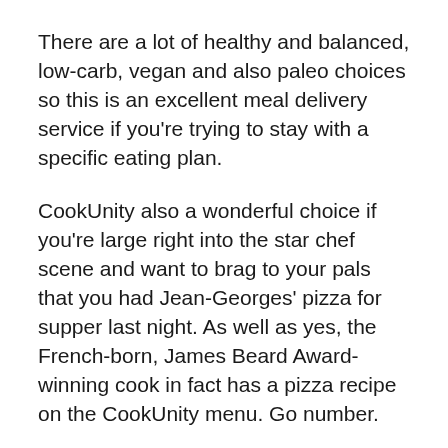There are a lot of healthy and balanced, low-carb, vegan and also paleo choices so this is an excellent meal delivery service if you're trying to stay with a specific eating plan.
CookUnity also a wonderful choice if you're large right into the star chef scene and want to brag to your pals that you had Jean-Georges' pizza for supper last night. As well as yes, the French-born, James Beard Award-winning cook in fact has a pizza recipe on the CookUnity menu. Go number.
That is CookUnity not as great for?